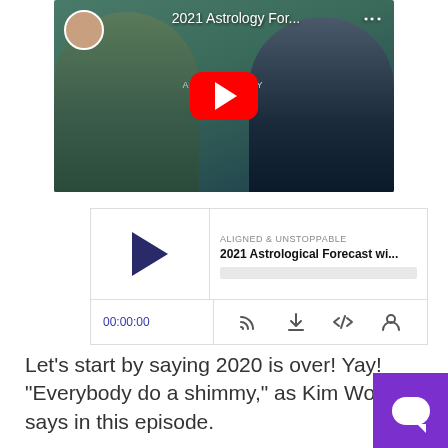[Figure (screenshot): YouTube video thumbnail showing two women in front of a teal background with text '2021 Astrology For...' and a red YouTube play button]
[Figure (screenshot): Podcast audio player widget showing 'ALIGNED & UNSTOPPABLE' show, episode '2021 Astrological Forecast wi...' with play button, progress bar, timestamp 00:00:00, and control icons]
Let’s start by saying 2020 is over! Yay! “Everybody do a shimmy,” as Kim Woods says in this episode.

Let me tell you, Kim and I have been doing these astrology forecasts together for several